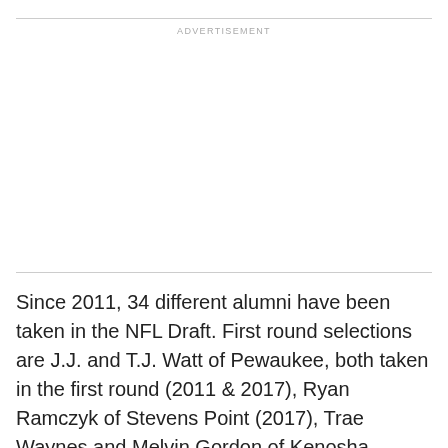ADVERTISEMENT
Since 2011, 34 different alumni have been taken in the NFL Draft. First round selections are J.J. and T.J. Watt of Pewaukee, both taken in the first round (2011 & 2017), Ryan Ramczyk of Stevens Point (2017), Trae Waynes and Melvin Gordon of Kenosha Bradford (2015), Travis